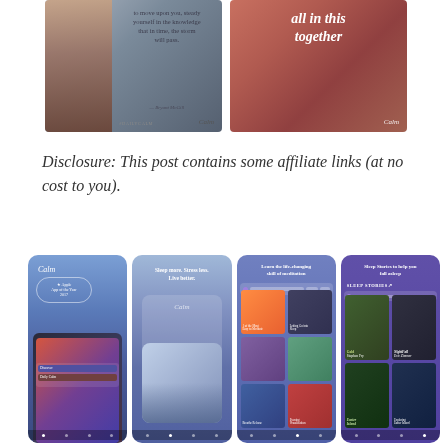[Figure (screenshot): Two promotional images for the Calm app. Left image shows a rainy window scene with text 'to move upon you, steady yourself in the knowledge that in time, the storm will pass.' attributed to Bryant McGill, with #DAILYCALM and Calm branding. Right image shows sandstone canyon with large italic text 'all in this together' and Calm branding.]
Disclosure: This post contains some affiliate links (at no cost to you).
[Figure (screenshot): Four Calm app screenshots showing: (1) Calm logo with Apple App of the Year 2017 award badge on purple/blue background with phone showing colorful meditation content; (2) 'Sleep more. Stress less. Live better.' text on light blue gradient with Calm card graphic; (3) 'Learn the life-changing skill of meditation' with grid of meditation session thumbnails; (4) 'Sleep Stories to help you fall asleep' with SLEEP STORIES header and grid of story cover images.]